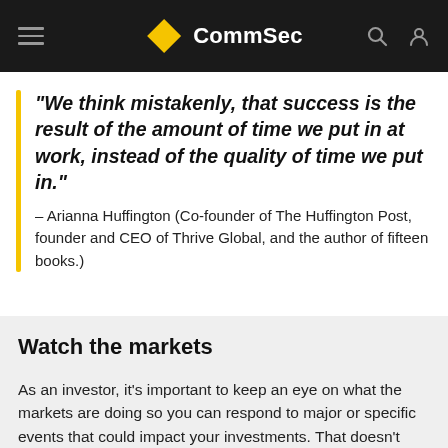CommSec
“We think mistakenly, that success is the result of the amount of time we put in at work, instead of the quality of the time we put in.” – Arianna Huffington (Co-founder of The Huffington Post, founder and CEO of Thrive Global, and the author of fifteen books.)
Watch the markets
As an investor, it’s important to keep an eye on what the markets are doing so you can respond to major or specific events that could impact your investments. That doesn’t mean you have to be an expert on the ASX or the Aussie dollar